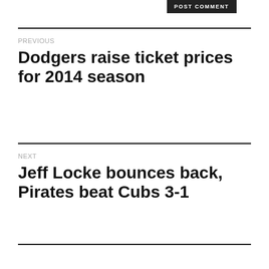POST COMMENT
PREVIOUS
Dodgers raise ticket prices for 2014 season
NEXT
Jeff Locke bounces back, Pirates beat Cubs 3-1